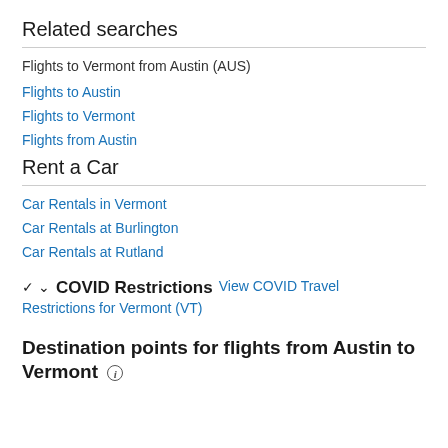Related searches
Flights to Vermont from Austin (AUS)
Flights to Austin
Flights to Vermont
Flights from Austin
Rent a Car
Car Rentals in Vermont
Car Rentals at Burlington
Car Rentals at Rutland
COVID Restrictions  View COVID Travel Restrictions for Vermont (VT)
Destination points for flights from Austin to Vermont